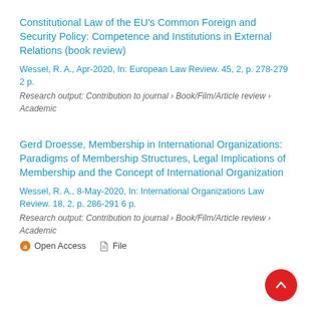Constitutional Law of the EU's Common Foreign and Security Policy: Competence and Institutions in External Relations (book review)
Wessel, R. A., Apr-2020, In: European Law Review. 45, 2, p. 278-279 2 p.
Research output: Contribution to journal › Book/Film/Article review › Academic
Gerd Droesse, Membership in International Organizations: Paradigms of Membership Structures, Legal Implications of Membership and the Concept of International Organization
Wessel, R. A., 8-May-2020, In: International Organizations Law Review. 18, 2, p. 286-291 6 p.
Research output: Contribution to journal › Book/Film/Article review › Academic
Open Access   File